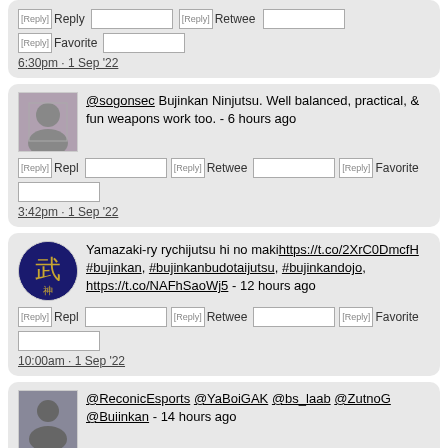[Figure (screenshot): Partial tweet card at top showing Reply/Retweet/Favorite action buttons and timestamp 6:30pm - 1 Sep '22]
@sogonsec Bujinkan Ninjutsu. Well balanced, practical, & fun weapons work too. - 6 hours ago
[Figure (screenshot): Tweet action buttons: Reply, Retweet, Favorite with timestamp 3:42pm - 1 Sep '22]
Yamazaki-ry rychijutsu hi no makihttps://t.co/2XrC0DmcfH #bujinkan, #bujinkanbudotaijutsu, #bujinkandojo, https://t.co/NAFhSaoWj5 - 12 hours ago
[Figure (screenshot): Tweet action buttons: Reply, Retweet, Favorite with timestamp 10:00am - 1 Sep '22]
@ReconicEsports @YaBoiGAK @bs_laab @ZutnoG @Buiinkan - 14 hours ago